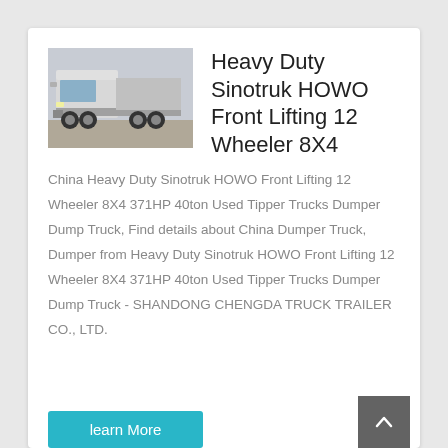[Figure (photo): White heavy duty Sinotruk HOWO truck with 8x4 wheel configuration, viewed from front-left angle in a parking area]
Heavy Duty Sinotruk HOWO Front Lifting 12 Wheeler 8X4
China Heavy Duty Sinotruk HOWO Front Lifting 12 Wheeler 8X4 371HP 40ton Used Tipper Trucks Dumper Dump Truck, Find details about China Dumper Truck, Dumper from Heavy Duty Sinotruk HOWO Front Lifting 12 Wheeler 8X4 371HP 40ton Used Tipper Trucks Dumper Dump Truck - SHANDONG CHENGDA TRUCK TRAILER CO., LTD.
learn More